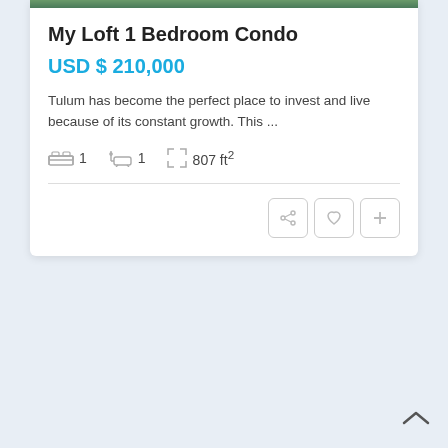[Figure (photo): Outdoor/garden photo strip at top of listing card]
My Loft 1 Bedroom Condo
USD $ 210,000
Tulum has become the perfect place to invest and live because of its constant growth. This ...
1 bedroom  1 bathroom  807 ft²